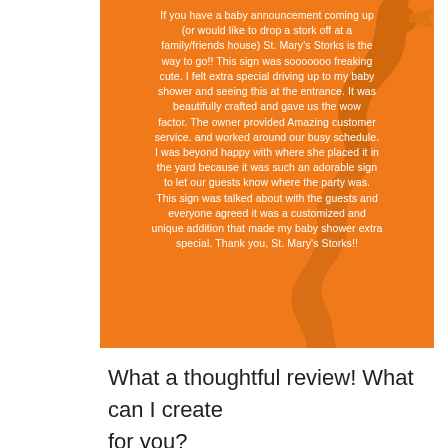[Figure (photo): Orange background image with a stork silhouette and white handwritten-style text containing a customer review for St. Mary's Storks]
What a thoughtful review! What can I create for you?